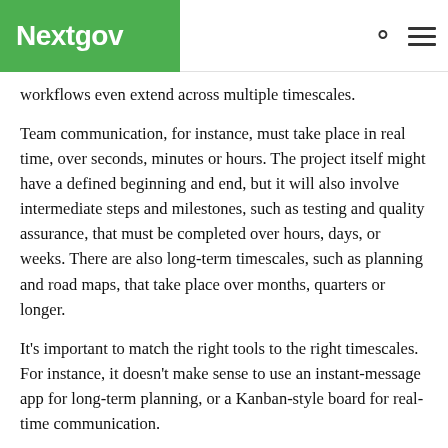Nextgov
workflows even extend across multiple timescales.
Team communication, for instance, must take place in real time, over seconds, minutes or hours. The project itself might have a defined beginning and end, but it will also involve intermediate steps and milestones, such as testing and quality assurance, that must be completed over hours, days, or weeks. There are also long-term timescales, such as planning and road maps, that take place over months, quarters or longer.
It's important to match the right tools to the right timescales. For instance, it doesn't make sense to use an instant-message app for long-term planning, or a Kanban-style board for real-time communication.
It's also important to document timescales and process steps for repeatable activities like releasing new software and for